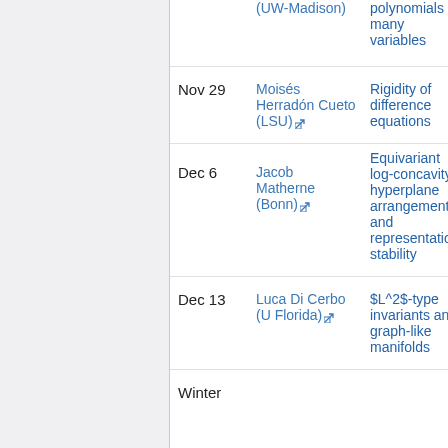| Date | Speaker | Topic |
| --- | --- | --- |
|  | (UW-Madison) | polynomials many variables |
| Nov 29 | Moisés Herradón Cueto (LSU) | Rigidity of difference equations |
| Dec 6 | Jacob Matherne (Bonn) | Equivariant log-concavity hyperplane arrangements and representation stability |
| Dec 13 | Luca Di Cerbo (U Florida) | $L^2$-type invariants and graph-like manifolds |
| Winter |  |  |